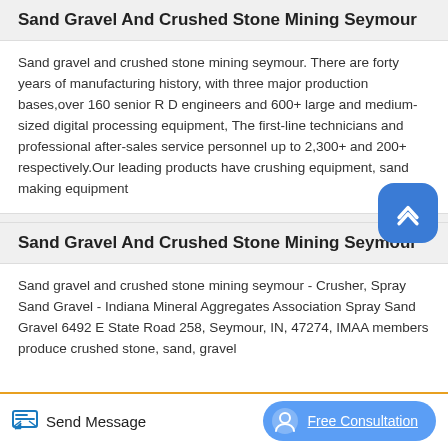Sand Gravel And Crushed Stone Mining Seymour
Sand gravel and crushed stone mining seymour. There are forty years of manufacturing history, with three major production bases,over 160 senior R D engineers and 600+ large and medium-sized digital processing equipment, The first-line technicians and professional after-sales service personnel up to 2,300+ and 200+ respectively.Our leading products have crushing equipment, sand making equipment
Sand Gravel And Crushed Stone Mining Seymour
Sand gravel and crushed stone mining seymour - Crusher, Spray Sand Gravel - Indiana Mineral Aggregates Association Spray Sand Gravel 6492 E State Road 258, Seymour, IN, 47274, IMAA members produce crushed stone, sand, gravel
Send Message   Free Consultation